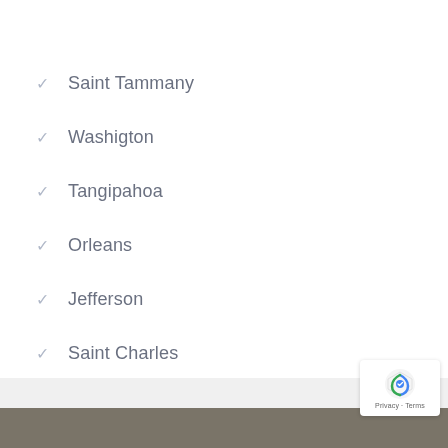Saint Tammany
Washigton
Tangipahoa
Orleans
Jefferson
Saint Charles
Saint John the Baptist
Saint Bernard
Assumption
Lafourche
Plaquemines
Saint James
Privacy · Terms